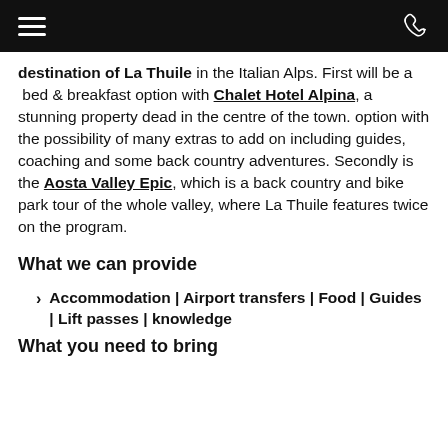destination of La Thuile in the Italian Alps. First will be a bed & breakfast option with Chalet Hotel Alpina, a stunning property dead in the centre of the town. option with the possibility of many extras to add on including guides, coaching and some back country adventures. Secondly is the Aosta Valley Epic, which is a back country and bike park tour of the whole valley, where La Thuile features twice on the program.
What we can provide
Accommodation | Airport transfers | Food | Guides | Lift passes | knowledge
What you need to bring